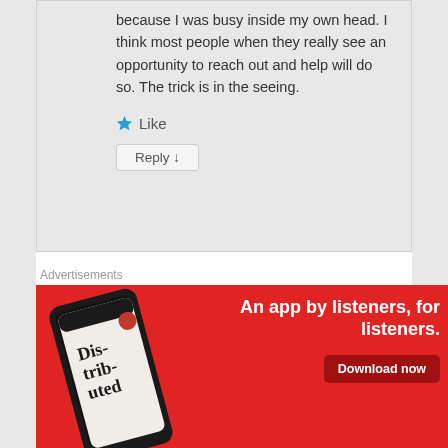because I was busy inside my own head. I think most people when they really see an opportunity to reach out and help will do so. The trick is in the seeing.
Like
Reply ↓
Advertisements
[Figure (infographic): Red advertisement banner for a podcast app called 'Distributed'. Shows a smartphone with the app open displaying bold text 'Dis-trib-uted'. Text reads 'An app by listeners, for listeners.' with a 'Download now' button.]